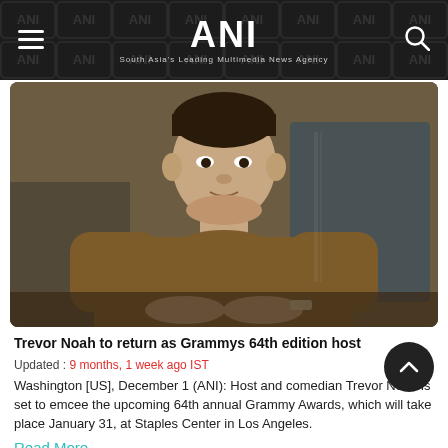ANI – South Asia's Leading Multimedia News Agency
[Figure (photo): Man in brown/rust long sleeve sweater sitting at a desk with hands clasped, upper body portrait shot, blurred background.]
Trevor Noah to return as Grammys 64th edition host
Updated : 9 months, 1 week ago IST
Washington [US], December 1 (ANI): Host and comedian Trevor Noah is set to emcee the upcoming 64th annual Grammy Awards, which will take place January 31, at Staples Center in Los Angeles.
Read More